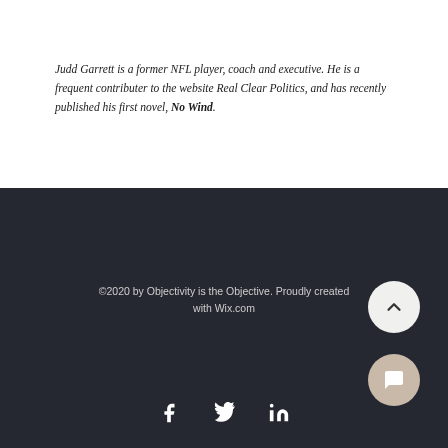Judd Garrett is a former NFL player, coach and executive. He is a frequent contributer to the website Real Clear Politics, and has recently published his first novel, No Wind.
©2020 by Objectivity is the Objective. Proudly created with Wix.com